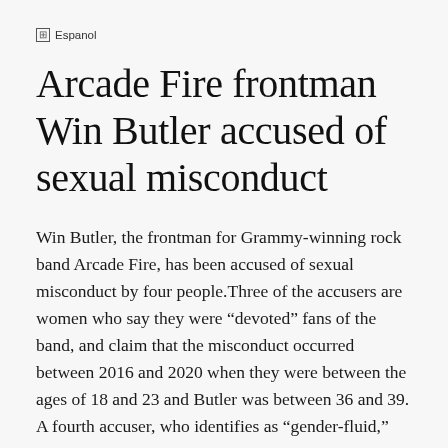⊞ Espanol
Arcade Fire frontman Win Butler accused of sexual misconduct
Win Butler, the frontman for Grammy-winning rock band Arcade Fire, has been accused of sexual misconduct by four people.Three of the accusers are women who say they were “devoted” fans of the band, and claim that the misconduct occurred between 2016 and 2020 when they were between the ages of 18 and 23 and Butler was between 36 and 39. A fourth accuser, who identifies as “gender-fluid,” alleges that Butler sexually assaulted them twice in